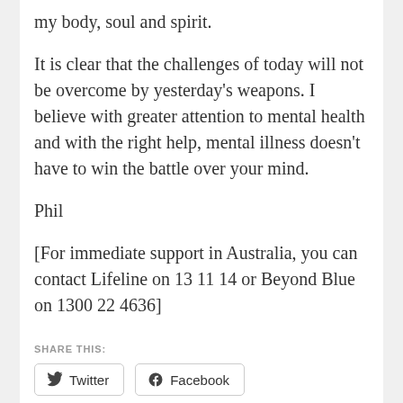my body, soul and spirit.
It is clear that the challenges of today will not be overcome by yesterday's weapons. I believe with greater attention to mental health and with the right help, mental illness doesn't have to win the battle over your mind.
Phil
[For immediate support in Australia, you can contact Lifeline on 13 11 14 or Beyond Blue on 1300 22 4636]
SHARE THIS:
[Figure (other): Share buttons for Twitter and Facebook]
Loading...